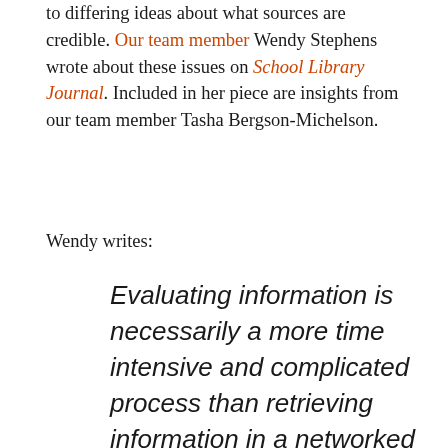to differing ideas about what sources are credible. Our team member Wendy Stephens wrote about these issues on School Library Journal. Included in her piece are insights from our team member Tasha Bergson-Michelson.
Wendy writes:
Evaluating information is necessarily a more time intensive and complicated process than retrieving information in a networked environment, but teens have demonstrated shifting notions about what makes a source